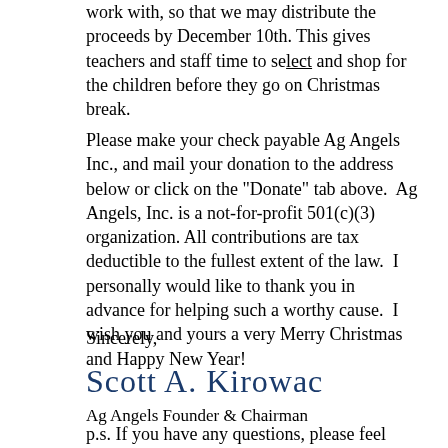work with, so that we may distribute the proceeds by December 10th. This gives teachers and staff time to select and shop for the children before they go on Christmas break.
Please make your check payable Ag Angels Inc., and mail your donation to the address below or click on the "Donate" tab above. Ag Angels, Inc. is a not-for-profit 501(c)(3) organization. All contributions are tax deductible to the fullest extent of the law. I personally would like to thank you in advance for helping such a worthy cause. I wish you and yours a very Merry Christmas and Happy New Year!
Sincerely,
[Figure (illustration): Handwritten cursive signature reading 'Scott A. Kirowac' in blue ink]
Ag Angels Founder & Chairman
p.s. If you have any questions, please feel